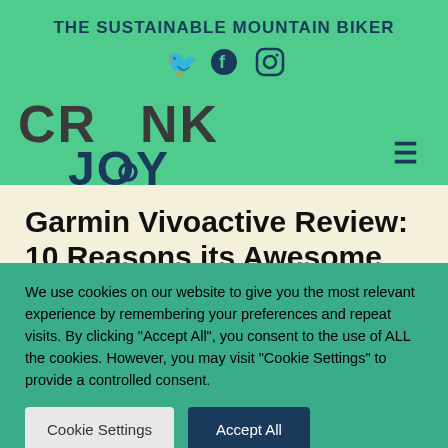THE SUSTAINABLE MOUNTAIN BIKER
[Figure (logo): CrankJoy logo with stylized bicycle crank graphic]
Garmin Vivoactive Review: 10 Reasons its Awesome
We use cookies on our website to give you the most relevant experience by remembering your preferences and repeat visits. By clicking "Accept All", you consent to the use of ALL the cookies. However, you may visit "Cookie Settings" to provide a controlled consent.